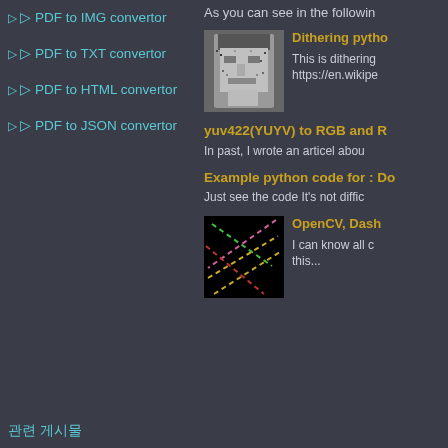PDF to IMG convertor
PDF to TXT convertor
PDF to HTML convertor
PDF to JSON convertor
As you can see in the followin
[Figure (photo): Dithered grayscale photo of a classical statue head]
Dithering pytho
This is dithering https://en.wikipe
yuv422(YUYV) to RGB and R
In past, I wrote an articel abou
Example python code for : Do
Just see the code It's not diffic
[Figure (screenshot): OpenCV colored dashed lines crossing on black background]
OpenCV, Dash
I can know all c this...
관련 게시물